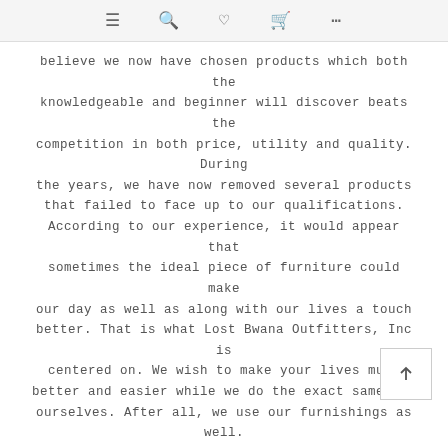≡ 🔍 ♥ 🛒 ...
believe we now have chosen products which both the knowledgeable and beginner will discover beats the competition in both price, utility and quality. During the years, we have now removed several products that failed to face up to our qualifications. According to our experience, it would appear that sometimes the ideal piece of furniture could make our day as well as along with our lives a touch better. That is what Lost Bwana Outfitters, Inc is centered on. We wish to make your lives much better and easier while we do the exact same for ourselves. After all, we use our furnishings as well.
Making use of over 25 combined years in contract furnishings sales and `market distribution, Lost Bwanastrives to give the most comprehensive support feasible for a wide selection of furniture and other hospitality products. Our company has been handling `market distribution for a number manufacturers throughout the world. We main level of inventory in outdoor contract furniture that is unmatched in El. We'll be introducing a lot of